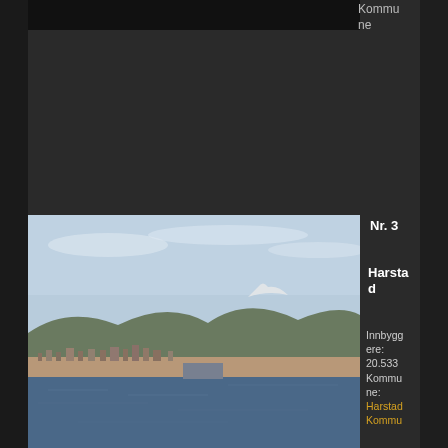[Figure (photo): Top portion of a dark photograph, partially cropped at top of page]
Kommune
Nr. 3
Harstad
Innbyggere: 20.533 Kommune: Harstad Kommune
[Figure (photo): Coastal panoramic photo of Harstad city viewed from the water, with hills, buildings along the shoreline, and blue sky with light clouds]